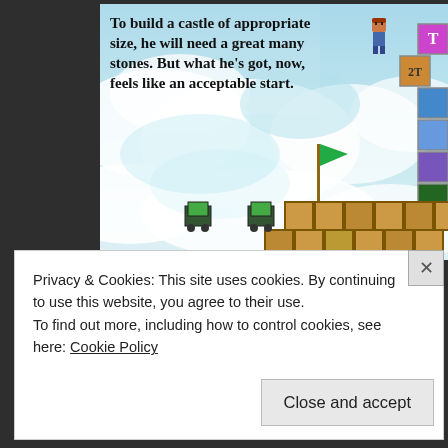[Figure (screenshot): A 2D retro-style video game screenshot showing a character on a sky background with clouds. There are colorful block tiles on the right side, two green cart-like characters, a green flag on a pole, and a row of decorated stone blocks at the bottom. Overlaid text reads: 'To build a castle of appropriate size, he will need a great many stones. But what he's got, now, feels like an acceptable start.']
Privacy & Cookies: This site uses cookies. By continuing to use this website, you agree to their use.
To find out more, including how to control cookies, see here: Cookie Policy
Close and accept